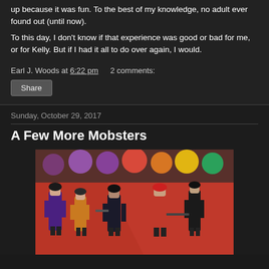up because it was fun. To the best of my knowledge, no adult ever found out (until now).
To this day, I don't know if that experience was good or bad for me, or for Kelly. But if I had it all to do over again, I would.
Earl J. Woods at 6:22 pm   2 comments:
Share
Sunday, October 29, 2017
A Few More Mobsters
[Figure (photo): Miniature mobster figurines posed on a red surface with colorful paint pots in the background. Figures are dressed in suits and fedoras, some holding weapons.]